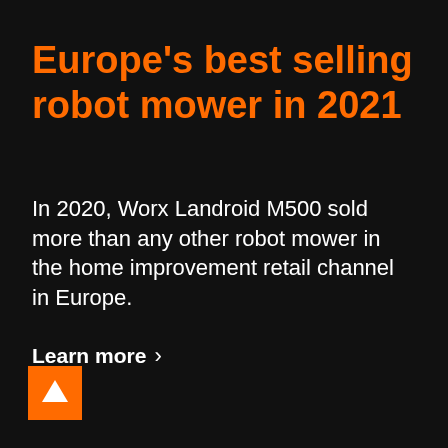Europe's best selling robot mower in 2021
In 2020, Worx Landroid M500 sold more than any other robot mower in the home improvement retail channel in Europe.
Learn more  >
[Figure (other): Orange square icon with white upward-pointing chevron/arrow]